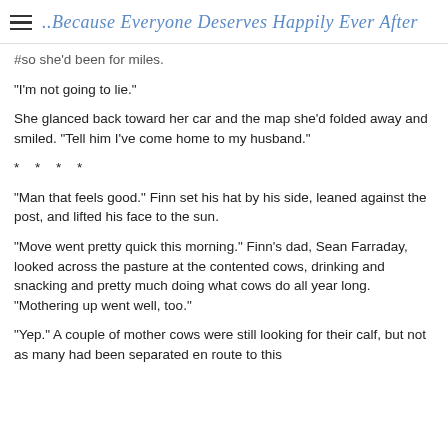..Because Everyone Deserves Happily Ever After
#so she'd been for miles.
"I'm not going to lie."
She glanced back toward her car and the map she'd folded away and smiled. "Tell him I've come home to my husband."
* * * *
"Man that feels good." Finn set his hat by his side, leaned against the post, and lifted his face to the sun.
"Move went pretty quick this morning." Finn's dad, Sean Farraday, looked across the pasture at the contented cows, drinking and snacking and pretty much doing what cows do all year long. "Mothering up went well, too."
"Yep." A couple of mother cows were still looking for their calf, but not as many had been separated en route to this